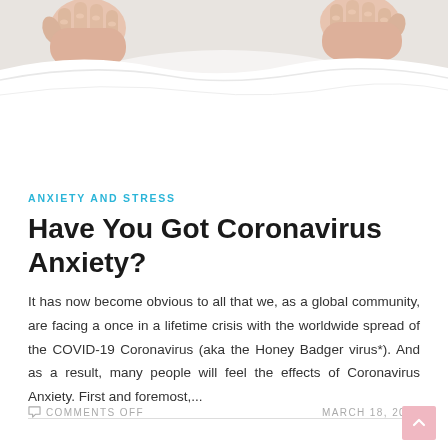[Figure (photo): Person pulling a white blanket or fabric up over their face, showing only their hands gripping the fabric — suggesting anxiety or stress.]
ANXIETY AND STRESS
Have You Got Coronavirus Anxiety?
It has now become obvious to all that we, as a global community, are facing a once in a lifetime crisis with the worldwide spread of the COVID-19 Coronavirus (aka the Honey Badger virus*). And as a result, many people will feel the effects of Coronavirus Anxiety. First and foremost,...
COMMENTS OFF   MARCH 18, 2020